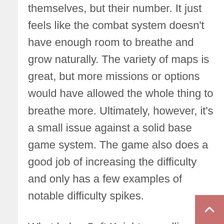themselves, but their number. It just feels like the combat system doesn't have enough room to breathe and grow naturally. The variety of maps is great, but more missions or options would have allowed the whole thing to breathe more. Ultimately, however, it's a small issue against a solid base game system. The game also does a good job of increasing the difficulty and only has a few examples of notable difficulty spikes.
What helps Soft Knights excelling even more is its unique sense of style. The hand-drawn art style is done by the same art director as Dicey Dungeons, Marlowe Dobbe, and it works absolutely brilliantly here. Factory soldiers vaguely feel Plants vs. Zombies, but there's a sort of low-budget Saturday morning cartoon